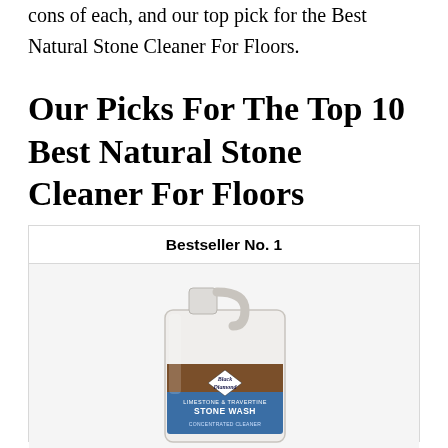cons of each, and our top pick for the Best Natural Stone Cleaner For Floors.
Our Picks For The Top 10 Best Natural Stone Cleaner For Floors
[Figure (photo): A gallon jug of Black Diamond Limestone & Travertine Stone Wash Concentrated Cleaner with a blue and brown label, shown with 'Bestseller No. 1' header above it in a product card.]